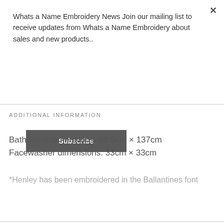Whats a Name Embroidery News Join our mailing list to receive updates from Whats a Name Embroidery about sales and new products..
Subscribe
ADDITIONAL INFORMATION
Bath towel dimensions: 68.5cm × 137cm
Facewasher dimensions: 33cm × 33cm
*Henley has been embroidered in the Ballantines font